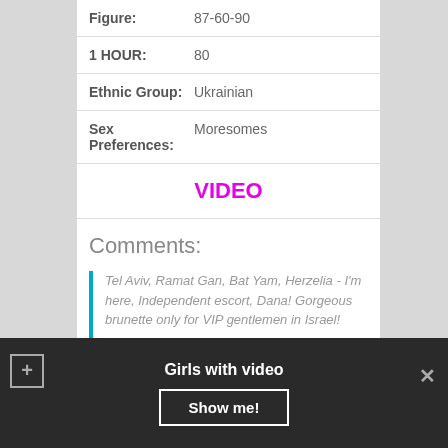| Figure: | 87-60-90 |
| 1 HOUR: | 80 |
| Ethnic Group: | Ukrainian |
| Sex Preferences: | Moresomes |
VIDEO
Comments:
Tel Aviv, Ramat Gan, Bat Yam, Herzelia - I'm here, Independent escort, Dana! Gorgeous brunette only for VIP gentlemen in Israel!
Girls with video  Show me!